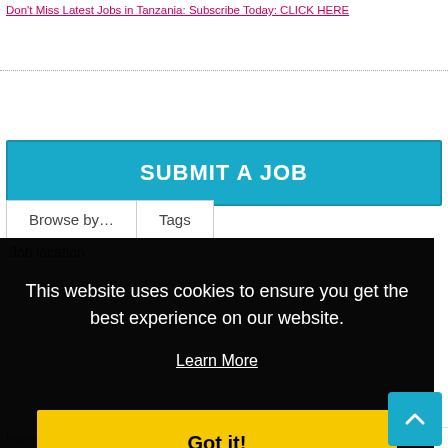Don't Miss Latest Jobs in Tanzania: Subscribe Today: CLICK HERE
SUBMIT A JOB
Browse by...
Tags
Job location
This website uses cookies to ensure you get the best experience on our website.
Learn More
Got it!